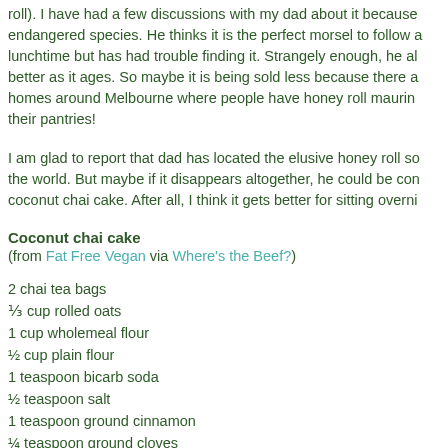roll). I have had a few discussions with my dad about it because endangered species. He thinks it is the perfect morsel to follow a lunchtime but has had trouble finding it. Strangely enough, he al better as it ages. So maybe it is being sold less because there a homes around Melbourne where people have honey roll maturing their pantries!
I am glad to report that dad has located the elusive honey roll so the world. But maybe if it disappears altogether, he could be con coconut chai cake. After all, I think it gets better for sitting overni
Coconut chai cake
(from Fat Free Vegan via Where's the Beef?)
2 chai tea bags
⅓ cup rolled oats
1 cup wholemeal flour
½ cup plain flour
1 teaspoon bicarb soda
½ teaspoon salt
1 teaspoon ground cinnamon
¼ teaspoon ground cloves